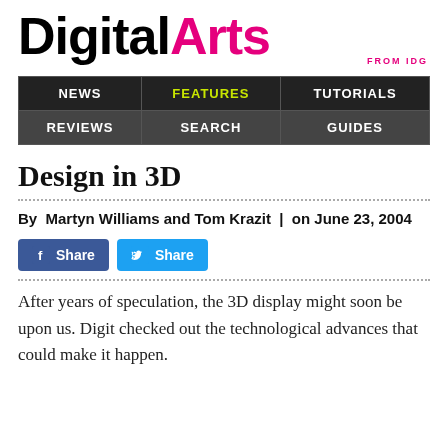[Figure (logo): DigitalArts FROM IDG logo — 'Digital' in black bold, 'Arts' in hot pink/magenta bold, 'FROM IDG' in small pink text below right]
[Figure (table-as-image): Navigation bar with 6 cells in 2 rows: NEWS, FEATURES (yellow), TUTORIALS / REVIEWS, SEARCH, GUIDES on dark grey background]
Design in 3D
By  Martyn Williams and Tom Krazit  |  on June 23, 2004
[Figure (other): Social share buttons: Facebook Share (blue) and Twitter Share (light blue)]
After years of speculation, the 3D display might soon be upon us. Digit checked out the technological advances that could make it happen.